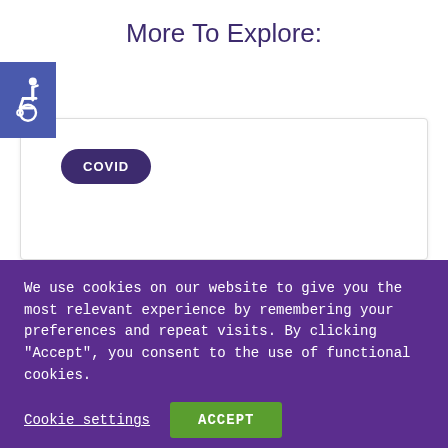More To Explore:
[Figure (logo): Accessibility wheelchair icon on blue/purple square background]
COVID
We use cookies on our website to give you the most relevant experience by remembering your preferences and repeat visits. By clicking “Accept”, you consent to the use of functional cookies.
Cookie settings
ACCEPT